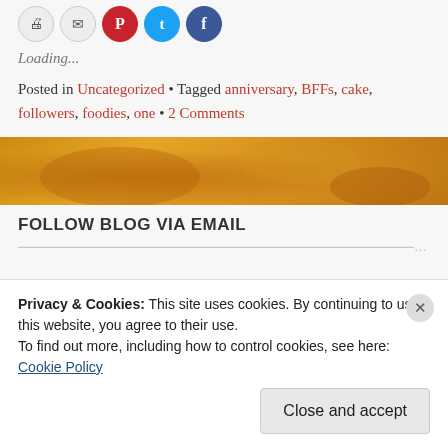[Figure (screenshot): Row of social sharing icon buttons: print (gray), email (gray), Pinterest (red), Twitter (blue), Facebook (blue)]
Loading...
Posted in Uncategorized • Tagged anniversary, BFFs, cake, followers, foodies, one • 2 Comments
[Figure (photo): Food photo with warm orange/yellow tones, appears to be cake or pastry]
FOLLOW BLOG VIA EMAIL
Privacy & Cookies: This site uses cookies. By continuing to use this website, you agree to their use.
To find out more, including how to control cookies, see here: Cookie Policy
Close and accept